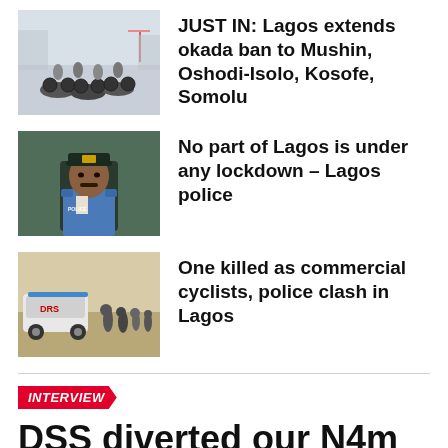[Figure (photo): Group of motorcycles (okada) with people, outdoor setting]
JUST IN: Lagos extends okada ban to Mushin, Oshodi-Isolo, Kosofe, Somolu
[Figure (photo): Police officer in uniform and cap, seated]
No part of Lagos is under any lockdown – Lagos police
[Figure (photo): Police vehicle and officers on a road, people in background]
One killed as commercial cyclists, police clash in Lagos
INTERVIEW
DSS diverted our N4m monthly allowance; we fed ourselves, paid for water in detention – El